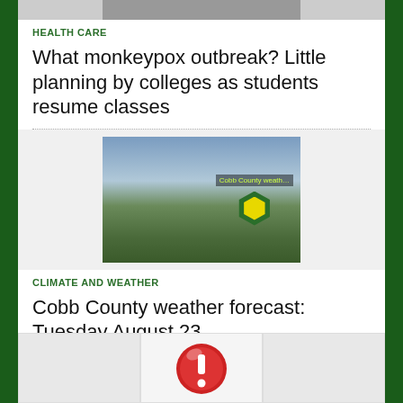[Figure (photo): Top image strip partially visible at top of page, showing people]
HEALTH CARE
What monkeypox outbreak? Little planning by colleges as students resume classes
[Figure (photo): Suburban street scene with trees and cloudy sky, Cobb County weather overlay badge visible]
CLIMATE AND WEATHER
Cobb County weather forecast: Tuesday August 23
[Figure (photo): Bottom row of three thumbnail images, center one showing a red warning/alert icon with exclamation mark]